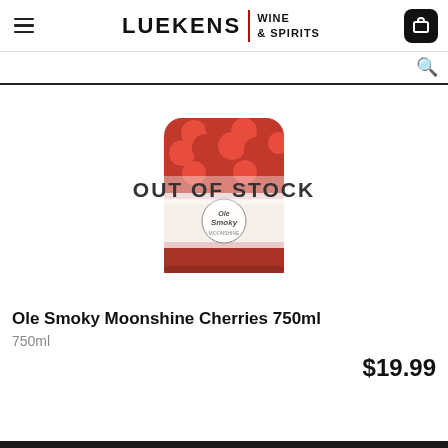LUEKENS | WINE & SPIRITS
[Figure (screenshot): Product image of Ole Smoky Moonshine Cherries 750ml jar with red cherries visible, overlaid with 'OUT OF STOCK' text]
Ole Smoky Moonshine Cherries 750ml
750ml
$19.99